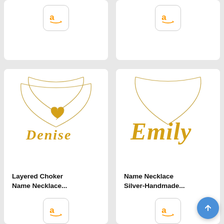[Figure (screenshot): Amazon product listing page showing four jewelry necklace products in a 2-column grid layout. Top row shows two cropped product cards with Amazon buy buttons. Bottom row shows two full product cards: left card has a layered choker name necklace with 'Denise' in gold script with heart pendant, titled 'Layered Choker Name Necklace...'; right card has a gold name necklace spelling 'Emily' in script, titled 'Name Necklace Silver-Handmade...'. Both bottom cards have Amazon buy buttons. A blue scroll-to-top button is in the bottom right corner.]